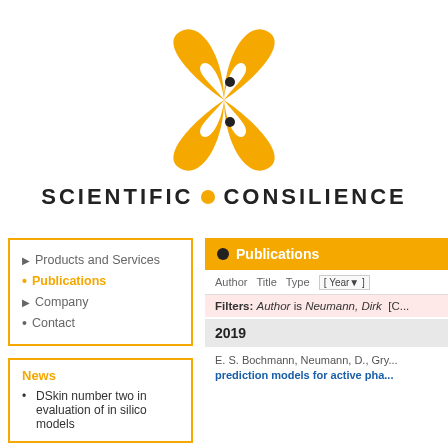[Figure (logo): Scientific Consilience logo — orange four-pointed star/petal shape with two black dots, company name 'SCIENTIFIC • CONSILIENCE' in bold black letters]
Products and Services
Publications
Company
Contact
News
DSkin number two in evaluation of in silico models
Publications
Author Title Type [ Year ]
Filters: Author is Neumann, Dirk [C...
2019
E. S. Bochmann, Neumann, D., Gry... prediction models for active pha...